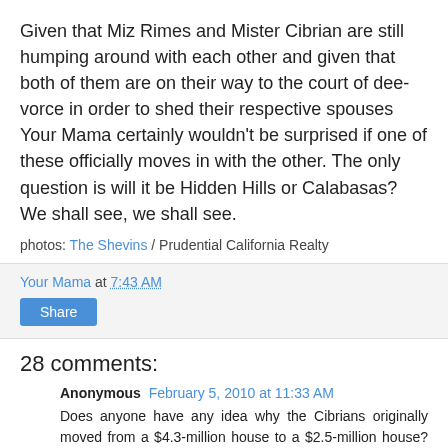Given that Miz Rimes and Mister Cibrian are still humping around with each other and given that both of them are on their way to the court of dee-vorce in order to shed their respective spouses Your Mama certainly wouldn't be surprised if one of these officially moves in with the other. The only question is will it be Hidden Hills or Calabasas? We shall see, we shall see.
photos: The Shevins / Prudential California Realty
Your Mama at 7:43 AM
Share
28 comments:
Anonymous February 5, 2010 at 11:33 AM
Does anyone have any idea why the Cibrians originally moved from a $4.3-million house to a $2.5-million house? Don't most people try to move "up" and not "down"?